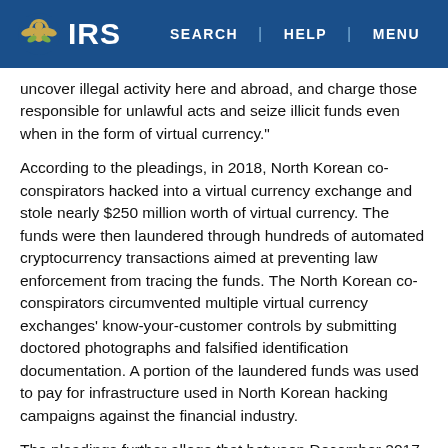IRS | SEARCH | HELP | MENU
uncover illegal activity here and abroad, and charge those responsible for unlawful acts and seize illicit funds even when in the form of virtual currency."
According to the pleadings, in 2018, North Korean co-conspirators hacked into a virtual currency exchange and stole nearly $250 million worth of virtual currency. The funds were then laundered through hundreds of automated cryptocurrency transactions aimed at preventing law enforcement from tracing the funds. The North Korean co-conspirators circumvented multiple virtual currency exchanges' know-your-customer controls by submitting doctored photographs and falsified identification documentation. A portion of the laundered funds was used to pay for infrastructure used in North Korean hacking campaigns against the financial industry.
The pleadings further allege that between December 2017 and April 2019, Yinyin and Jiadong laundered over $100 million worth of virtual currency, which primarily came from virtual currency exchange hacks. The defendants operated through